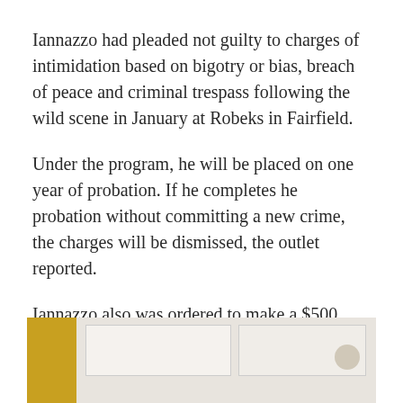Iannazzo had pleaded not guilty to charges of intimidation based on bigotry or bias, breach of peace and criminal trespass following the wild scene in January at Robeks in Fairfield.
Under the program, he will be placed on one year of probation. If he completes he probation without committing a new crime, the charges will be dismissed, the outlet reported.
Iannazzo also was ordered to make a $500 charitable donation.
[Figure (photo): Interior of a commercial space showing a yellow wall on the left and a white drop ceiling with ceiling tiles and a light fixture visible on the right.]